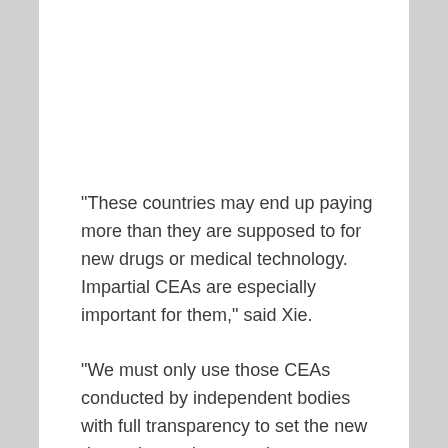“These countries may end up paying more than they are supposed to for new drugs or medical technology. Impartial CEAs are especially important for them,” said Xie.
“We must only use those CEAs conducted by independent bodies with full transparency to set the new drug price and support insurance coverage policy. This is important to ensure accessibility and sustainability of our healthcare systems.”